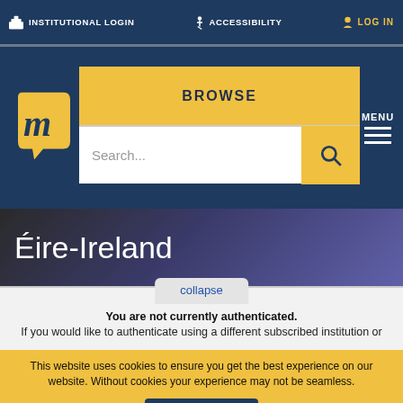INSTITUTIONAL LOGIN   ACCESSIBILITY   LOG IN
[Figure (logo): Muse logo: yellow speech bubble with letter m]
BROWSE
Search...
MENU
Éire-Ireland
collapse
You are not currently authenticated.
If you would like to authenticate using a different subscribed institution or
This website uses cookies to ensure you get the best experience on our website. Without cookies your experience may not be seamless.
Accept